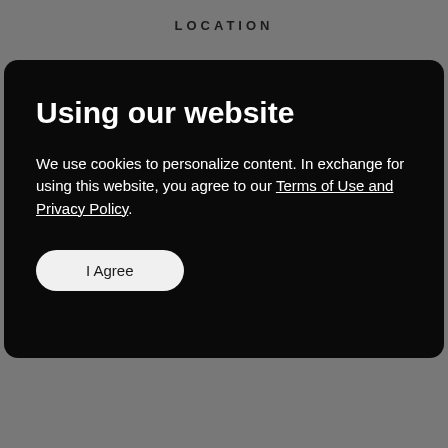LOCATION
Using our website
We use cookies to personalize content. In exchange for using this website, you agree to our Terms of Use and Privacy Policy.
I Agree